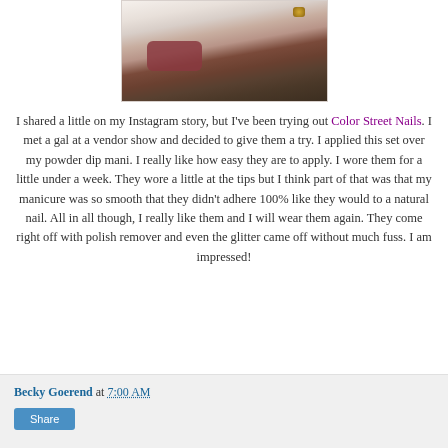[Figure (photo): A close-up photo of a hand with glitter nails resting on a white fur or fluffy surface, wearing a dark red/burgundy knitted sleeve. The nails have a brownish-gold glitter polish.]
I shared a little on my Instagram story, but I've been trying out Color Street Nails. I met a gal at a vendor show and decided to give them a try. I applied this set over my powder dip mani. I really like how easy they are to apply. I wore them for a little under a week. They wore a little at the tips but I think part of that was that my manicure was so smooth that they didn't adhere 100% like they would to a natural nail. All in all though, I really like them and I will wear them again. They come right off with polish remover and even the glitter came off without much fuss. I am impressed!
Becky Goerend at 7:00 AM  Share